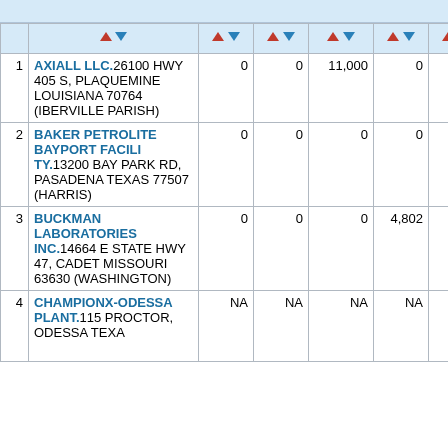| # | Facility | Col1 | Col2 | Col3 | Col4 | Col5 |
| --- | --- | --- | --- | --- | --- | --- |
| 1 | AXIALL LLC. 26100 HWY 405 S, PLAQUEMINE LOUISIANA 70764 (IBERVILLE PARISH) | 0 | 0 | 11,000 | 0 | 0 |
| 2 | BAKER PETROLITE BAYPORT FACILITY. 13200 BAY PARK RD, PASADENA TEXAS 77507 (HARRIS) | 0 | 0 | 0 | 0 | 0 |
| 3 | BUCKMAN LABORATORIES INC. 14664 E STATE HWY 47, CADET MISSOURI 63630 (WASHINGTON) | 0 | 0 | 0 | 4,802 | 714 |
| 4 | CHAMPIONX-ODESSA PLANT. 115 PROCTOR, ODESSA TEXAS... | NA | NA | NA | NA | NA |